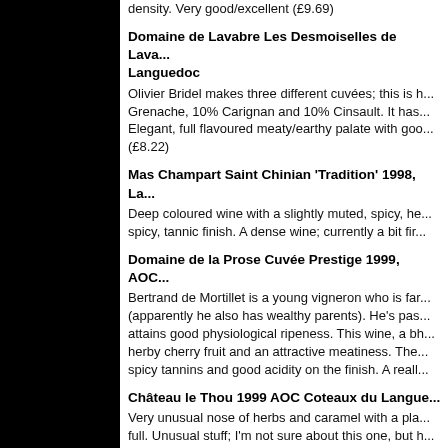density. Very good/excellent (£9.69)
Domaine de Lavabre Les Desmoiselles de Lavabre, Languedoc — Olivier Bridel makes three different cuvées; this is h... Grenache, 10% Carignan and 10% Cinsault. It has... Elegant, full flavoured meaty/earthy palate with goo... (£8.22)
Mas Champart Saint Chinian 'Tradition' 1998, La... — Deep coloured wine with a slightly muted, spicy, he... spicy, tannic finish. A dense wine; currently a bit fir...
Domaine de la Prose Cuvée Prestige 1999, AOC... — Bertrand de Mortillet is a young vigneron who is far... (apparently he also has wealthy parents). He's pas... attains good physiological ripeness. This wine, a bh... herby cherry fruit and an attractive meatiness. The... spicy tannins and good acidity on the finish. A reall...
Château le Thou 1999 AOC Coteaux du Langue... — Very unusual nose of herbs and caramel with a pla... full. Unusual stuff; I'm not sure about this one, but h...
Tempier Bandol Rouge 'Classique' 1999, Prove... — Quite a full, heby nose with a lovely Provencale ch... complex and shows plenty of character and good b...
Domaine D'Auphilac Montpeyroux 1998, AOC C... — Sylvain Fadat's wines have established a huge rep... Deep coloured, this wine has a rich, slightly herba...